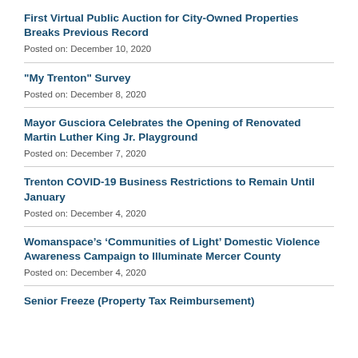First Virtual Public Auction for City-Owned Properties Breaks Previous Record
Posted on: December 10, 2020
"My Trenton" Survey
Posted on: December 8, 2020
Mayor Gusciora Celebrates the Opening of Renovated Martin Luther King Jr. Playground
Posted on: December 7, 2020
Trenton COVID-19 Business Restrictions to Remain Until January
Posted on: December 4, 2020
Womanspace’s ‘Communities of Light’ Domestic Violence Awareness Campaign to Illuminate Mercer County
Posted on: December 4, 2020
Senior Freeze (Property Tax Reimbursement)